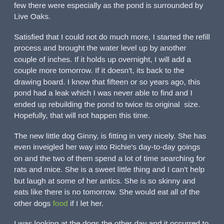few there were especially as the pond is surrounded by Live Oaks.
Satisfied that I could not do much more, I started the refill process and brought the water level up by another couple of inches. If it holds up overnight, I will add a couple more tomorrow. If it doesn't, its back to the drawing board. I know that fifteen or so years ago, this pond had a leak which I was never able to find and I ended up rebuilding the pond to twice its original  size. Hopefully, that will not happen this time.
The new little dog Ginny, is fitting in very nicely. She has even inveigled her way into Richie's day-to-day goings on and the two of them spend a lot of time searching for rats and mice. She is a sweet little thing and I can't help but laugh at some of her antics. She is so skinny and eats like there is no tomorrow. She would eat all of the other dogs food if I let her.
I was looking at the dogs the other day and it occurred to me that both Abigail, BeBe and Richie have all put on weight. I never really noticed it before until Ginny came along and then I saw immediately just how chunky Richie had got. BeBe and Abigail have had weight problems for a long time. BeBe is on special food because of the